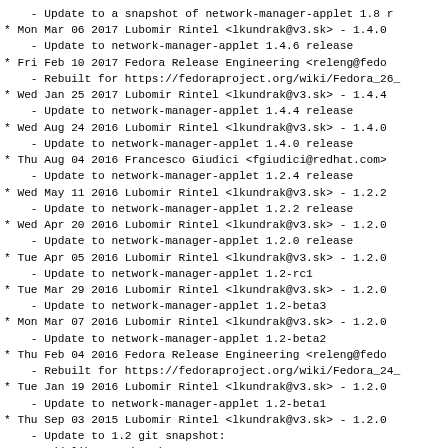- Update to a snapshot of network-manager-applet 1.8 r
* Mon Mar 06 2017 Lubomir Rintel <lkundrak@v3.sk> - 1.4.0
    - Update to network-manager-applet 1.4.6 release
* Fri Feb 10 2017 Fedora Release Engineering <releng@fedo
    - Rebuilt for https://fedoraproject.org/wiki/Fedora_26_
* Wed Jan 25 2017 Lubomir Rintel <lkundrak@v3.sk> - 1.4.4
    - Update to network-manager-applet 1.4.4 release
* Wed Aug 24 2016 Lubomir Rintel <lkundrak@v3.sk> - 1.4.0
    - Update to network-manager-applet 1.4.0 release
* Thu Aug 04 2016 Francesco Giudici <fgiudici@redhat.com>
    - Update to network-manager-applet 1.2.4 release
* Wed May 11 2016 Lubomir Rintel <lkundrak@v3.sk> - 1.2.2
    - Update to network-manager-applet 1.2.2 release
* Wed Apr 20 2016 Lubomir Rintel <lkundrak@v3.sk> - 1.2.0
    - Update to network-manager-applet 1.2.0 release
* Tue Apr 05 2016 Lubomir Rintel <lkundrak@v3.sk> - 1.2.0
    - Update to network-manager-applet 1.2-rc1
* Tue Mar 29 2016 Lubomir Rintel <lkundrak@v3.sk> - 1.2.0
    - Update to network-manager-applet 1.2-beta3
* Mon Mar 07 2016 Lubomir Rintel <lkundrak@v3.sk> - 1.2.0
    - Update to network-manager-applet 1.2-beta2
* Thu Feb 04 2016 Fedora Release Engineering <releng@fedo
    - Rebuilt for https://fedoraproject.org/wiki/Fedora_24_
* Tue Jan 19 2016 Lubomir Rintel <lkundrak@v3.sk> - 1.2.0
    - Update to network-manager-applet 1.2-beta1
* Thu Sep 03 2015 Lubomir Rintel <lkundrak@v3.sk> - 1.2.0
    - Update to 1.2 git snapshot:
    - Add libnma subpackages
    - Add support for libnm-based properties plugins
* Wed Sep 02 2015 Thomas Haller <thaller@redhat.com> - 1